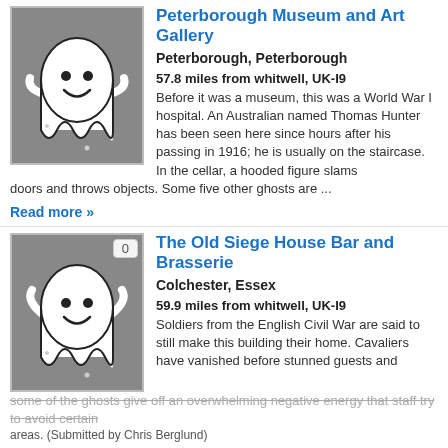[Figure (illustration): Ghost cartoon illustration on grey background with badge showing number (partially visible top)]
Peterborough Museum and Art Gallery
Peterborough, Peterborough
57.8 miles from whitwell, UK-I9
Before it was a museum, this was a World War I hospital. An Australian named Thomas Hunter has been seen here since hours after his passing in 1916; he is usually on the staircase. In the cellar, a hooded figure slams doors and throws objects. Some five other ghosts are ...
Read more »
[Figure (illustration): Ghost cartoon illustration on grey background with badge showing 0]
The Old Siege House Bar and Brasserie
Colchester, Essex
59.9 miles from whitwell, UK-I9
Soldiers from the English Civil War are said to still make this building their home. Cavaliers have vanished before stunned guests and some of the ghosts give off an overwhelming negative energy that staff try to avoid certain areas. (Submitted by Chris Berglund)